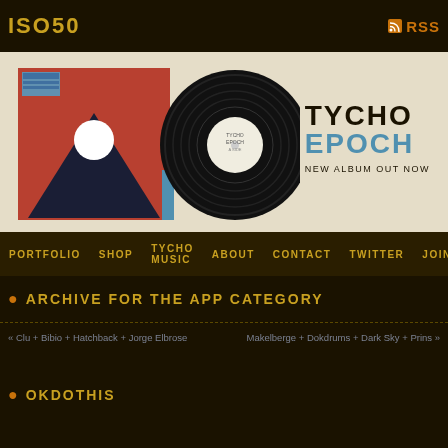ISO50 | RSS
[Figure (illustration): Tycho Epoch album promotional banner with vinyl record and album cover. Album cover shows geometric shapes (triangle/mountain, circle) in red, dark navy and white. A black vinyl record shown beside it with white label. Text reads TYCHO EPOCH NEW ALBUM OUT NOW on cream/beige background.]
PORTFOLIO SHOP TYCHO MUSIC ABOUT CONTACT TWITTER JOIN
ARCHIVE FOR THE APP CATEGORY
« Clu + Bibio + Hatchback + Jorge Elbrose
Makelberge + Dokdrums + Dark Sky + Prins »
OKDOTHIS